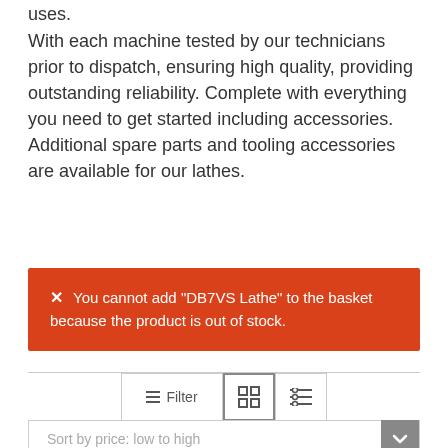uses.
With each machine tested by our technicians prior to dispatch, ensuring high quality, providing outstanding reliability. Complete with everything you need to get started including accessories. Additional spare parts and tooling accessories are available for our lathes.
You cannot add "DB7VS Lathe" to the basket because the product is out of stock.